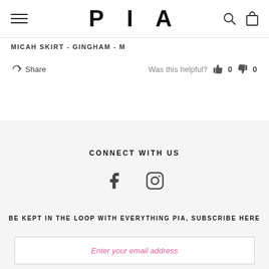PIA
MICAH SKIRT - GINGHAM - M
Share   Was this helpful?  0  0
CONNECT WITH US
[Figure (illustration): Facebook and Instagram social media icons]
BE KEPT IN THE LOOP WITH EVERYTHING PIA, SUBSCRIBE HERE
Enter your email address